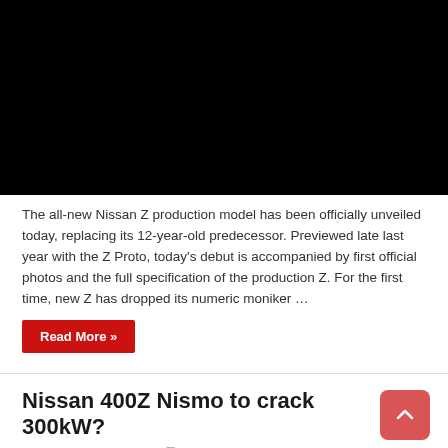[Figure (photo): Black image placeholder for Nissan Z production model article]
The all-new Nissan Z production model has been officially unveiled today, replacing its 12-year-old predecessor. Previewed late last year with the Z Proto, today's debut is accompanied by first official photos and the full specification of the production Z. For the first time, new Z has dropped its numeric moniker …
Read More »
Nissan 400Z Nismo to crack 300kW?
September 17, 2020   News